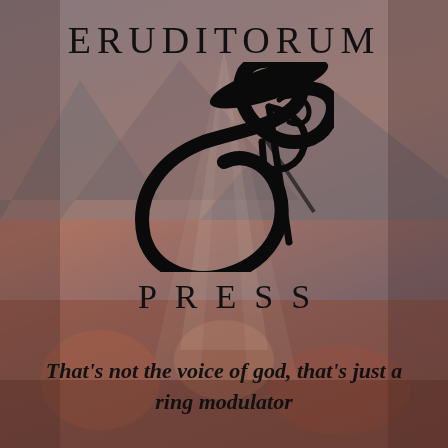[Figure (logo): Eruditorum Press logo page with stylized EP monogram, background of muted warm painterly figures/mountains, text ERUDITORUM at top, PRESS below logo, and italic tagline at bottom]
ERUDITORUM
PRESS
That's not the voice of god, that's just a ring modulator